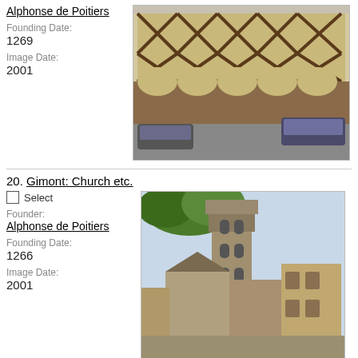Alphonse de Poitiers
Founding Date: 1269
Image Date: 2001
[Figure (photo): Street view of a medieval half-timbered building with arched colonnades on the ground floor, two cars parked in front on a street.]
20. Gimont: Church etc.
Select
Founder: Alphonse de Poitiers
Founding Date: 1266
Image Date: 2001
[Figure (photo): Street scene in Gimont showing a tall stone church tower (octagonal upper section) rising above surrounding stone buildings, with trees partially visible at top.]